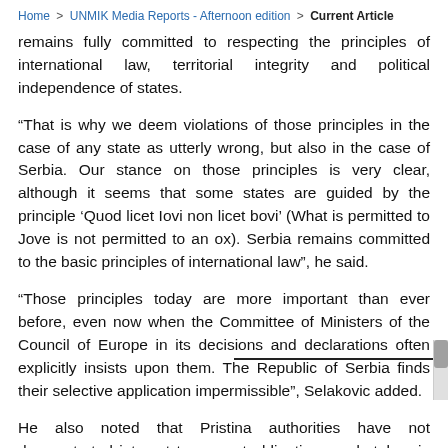You are here: Home > UNMIK Media Reports - Afternoon edition > Current Article
remains fully committed to respecting the principles of international law, territorial integrity and political independence of states.
“That is why we deem violations of those principles in the case of any state as utterly wrong, but also in the case of Serbia. Our stance on those principles is very clear, although it seems that some states are guided by the principle ‘Quod licet Iovi non licet bovi’ (What is permitted to Jove is not permitted to an ox). Serbia remains committed to the basic principles of international law”, he said.
“Those principles today are more important than ever before, even now when the Committee of Ministers of the Council of Europe in its decisions and declarations often explicitly insists upon them. The Republic of Serbia finds their selective application impermissible”, Selakovic added.
He also noted that Pristina authorities have not demonstrated interest to respect obligations undertaken in Brussels dialogue, in particular when it comes to protecting the rights of Serbs and